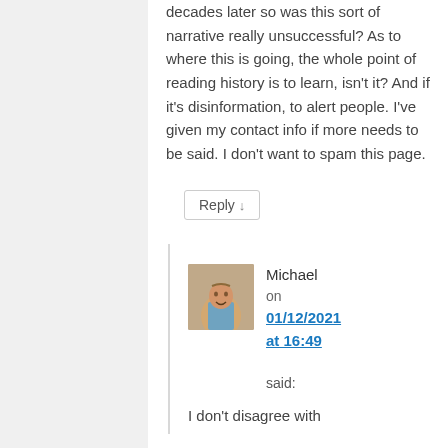decades later so was this sort of narrative really unsuccessful? As to where this is going, the whole point of reading history is to learn, isn't it? And if it's disinformation, to alert people. I've given my contact info if more needs to be said. I don't want to spam this page.
Reply ↓
Michael on 01/12/2021 at 16:49 said:
I don't disagree with